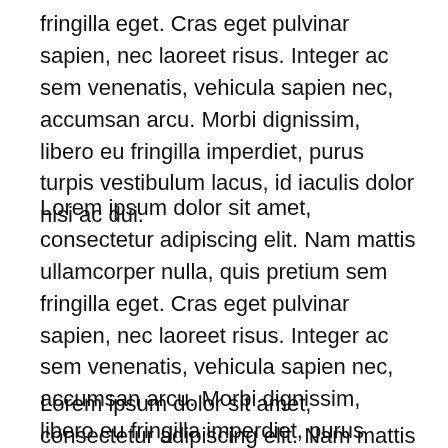fringilla eget. Cras eget pulvinar sapien, nec laoreet risus. Integer ac sem venenatis, vehicula sapien nec, accumsan arcu. Morbi dignissim, libero eu fringilla imperdiet, purus turpis vestibulum lacus, id iaculis dolor nisi ac dui.
Lorem ipsum dolor sit amet, consectetur adipiscing elit. Nam mattis ullamcorper nulla, quis pretium sem fringilla eget. Cras eget pulvinar sapien, nec laoreet risus. Integer ac sem venenatis, vehicula sapien nec, accumsan arcu. Morbi dignissim, libero eu fringilla imperdiet, purus turpis vestibulum lacus, id iaculis dolor nisi ac dui.
Lorem ipsum dolor sit amet, consectetur adipiscing elit. Nam mattis ullamcorper nulla, quis pretium sem fringilla eget. Cras eget pulvinar sapien, nec laoreet